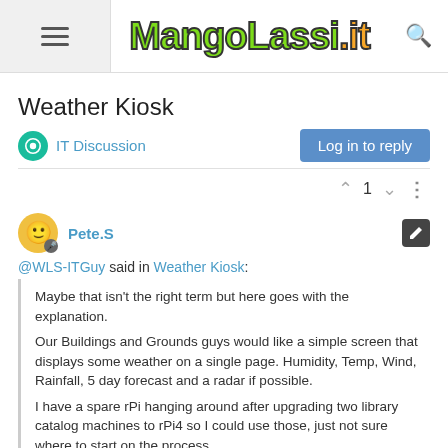MangoLassi.it
Weather Kiosk
IT Discussion
Log in to reply
1
Pete.S
@WLS-ITGuy said in Weather Kiosk:
Maybe that isn't the right term but here goes with the explanation.

Our Buildings and Grounds guys would like a simple screen that displays some weather on a single page. Humidity, Temp, Wind, Rainfall, 5 day forecast and a radar if possible.

I have a spare rPi hanging around after upgrading two library catalog machines to rPi4 so I could use those, just not sure where to start on the process.